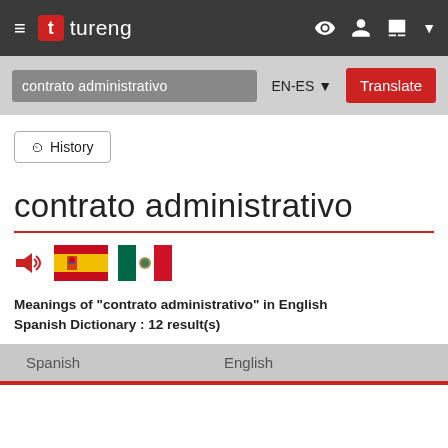tureng
contrato administrativo | EN-ES | Translate
History
contrato administrativo
Meanings of "contrato administrativo" in English Spanish Dictionary : 12 result(s)
| Spanish | English |
| --- | --- |